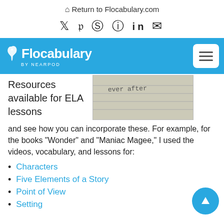Return to Flocabulary.com
[Figure (illustration): Social media icons: Twitter, Facebook, Pinterest, Instagram, LinkedIn, Email]
[Figure (logo): Flocabulary by Nearpod logo on blue navigation bar with hamburger menu]
[Figure (photo): Notebook with handwritten text]
Resources available for ELA lessons
and see how you can incorporate these. For example, for the books "Wonder" and "Maniac Magee," I used the videos, vocabulary, and lessons for:
Characters
Five Elements of a Story
Point of View
Setting